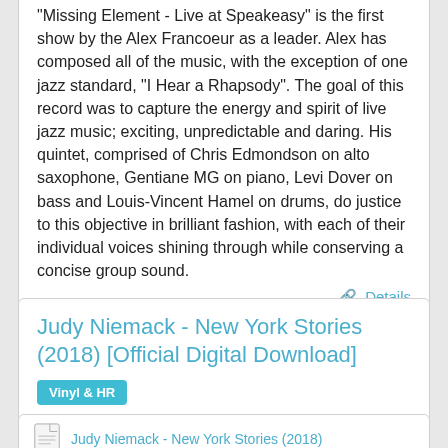"Missing Element - Live at Speakeasy" is the first show by the Alex Francoeur as a leader. Alex has composed all of the music, with the exception of one jazz standard, "I Hear a Rhapsody". The goal of this record was to capture the energy and spirit of live jazz music; exciting, unpredictable and daring. His quintet, comprised of Chris Edmondson on alto saxophone, Gentiane MG on piano, Levi Dover on bass and Louis-Vincent Hamel on drums, do justice to this objective in brilliant fashion, with each of their individual voices shining through while conserving a concise group sound.
Details
Judy Niemack - New York Stories (2018) [Official Digital Download]
Vinyl & HR
Posted by Pisulik at June 18, 2019
Judy Niemack - New York Stories (2018)